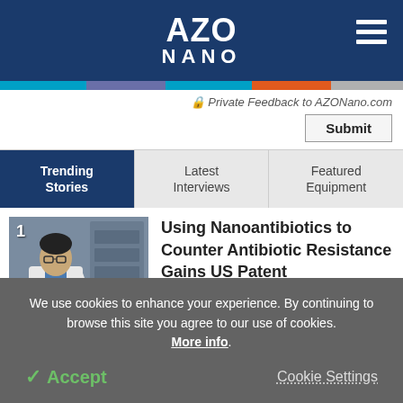AZO NANO
Private Feedback to AZONano.com
Submit
Trending Stories
Latest Interviews
Featured Equipment
[Figure (photo): Scientist in white lab coat in laboratory setting, numbered 1]
Using Nanoantibiotics to Counter Antibiotic Resistance Gains US Patent
We use cookies to enhance your experience. By continuing to browse this site you agree to our use of cookies. More info.
Accept
Cookie Settings